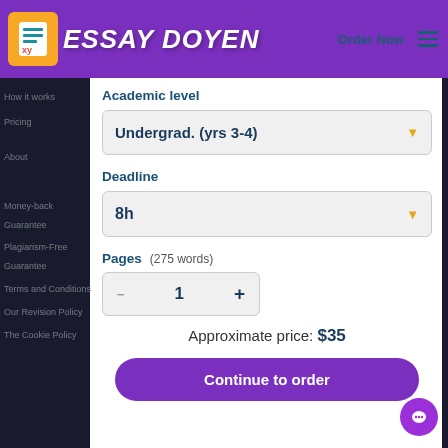ESSAY DOYEN — Order Now
How it works
Pricing
About
Money-back Guarantee
Plagiarism-Free Guarantee
Terms and Conditions
Our Revision Policy
The Cookie Policy
Academic level
Undergrad. (yrs 3-4)
Deadline
8h
Pages    (275 words)
1
Approximate price: $35
Continue to order